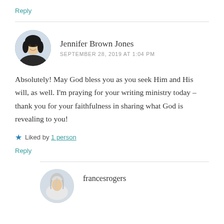Reply
Jennifer Brown Jones
SEPTEMBER 28, 2019 AT 1:04 PM
Absolutely! May God bless you as you seek Him and His will, as well. I'm praying for your writing ministry today – thank you for your faithfulness in sharing what God is revealing to you!
Liked by 1 person
Reply
francesrogers